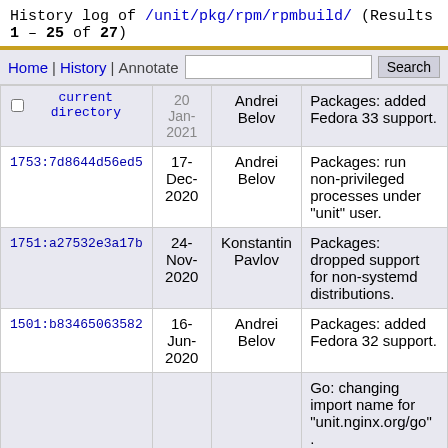History log of /unit/pkg/rpm/rpmbuild/ (Results 1 – 25 of 27)
| Revision | Date | Author | Description |
| --- | --- | --- | --- |
| [checkbox] current directory | 20-Jan-2021 | Andrei Belov | Packages: added Fedora 33 support. |
| 1753:7d8644d56ed5 | 17-Dec-2020 | Andrei Belov | Packages: run non-privileged processes under "unit" user. |
| 1751:a27532e3a17b | 24-Nov-2020 | Konstantin Pavlov | Packages: dropped support for non-systemd distributions. |
| 1501:b83465063582 | 16-Jun-2020 | Andrei Belov | Packages: added Fedora 32 support. |
|  | 25-... |  | Go: changing import name for "unit.nginx.org/go". |